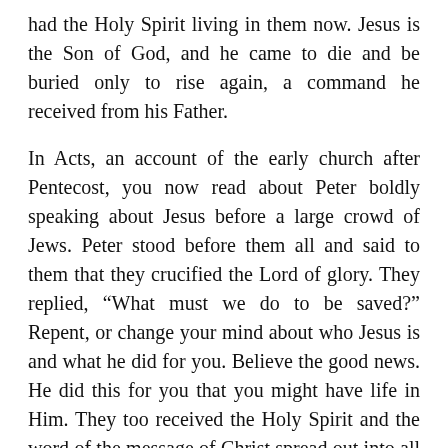had the Holy Spirit living in them now. Jesus is the Son of God, and he came to die and be buried only to rise again, a command he received from his Father.
In Acts, an account of the early church after Pentecost, you now read about Peter boldly speaking about Jesus before a large crowd of Jews. Peter stood before them all and said to them that they crucified the Lord of glory. They replied, “What must we do to be saved?” Repent, or change your mind about who Jesus is and what he did for you. Believe the good news. He did this for you that you might have life in Him. They too received the Holy Spirit and the word of the message of Christ spread out into all the world.
Today, we have the very word of life, truth from the Spirit of God, recorded down for us. The bible, the collection of 66 books, that we have in our hands today, did not have its origin in the will of man. Men were filled with the Holy Spirit and were carried along by the Holy Spirit. They wrote down truth as it was revealed to them, truth not by men, but by the